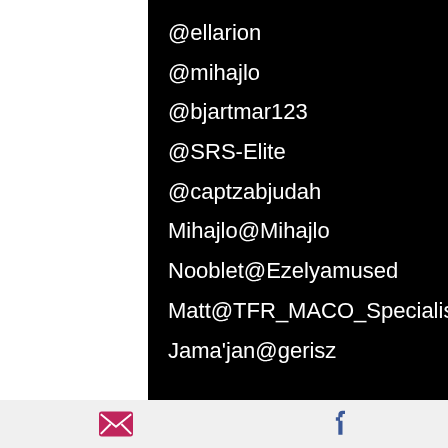@ellarion
@mihajlo
@bjartmar123
@SRS-Elite
@captzabjudah
Mihajlo@Mihajlo
Nooblet@Ezelyamused
Matt@TFR_MACO_Specialist
Jama'jan@gerisz
[Figure (infographic): Email icon (envelope) and Facebook icon in footer bar]